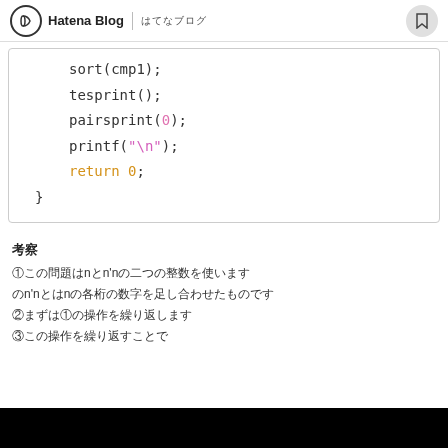Hatena Blog | はてなブログ
sort(cmp1);
    tesprint();
    pairsprint(0);
    printf("\n");
    return 0;
}
考察
①この問題はnとn'nの二つの整数を使います
のn'nとはnの各桁の数字を足し合わせたものです
②まずは①の操作を繰り返します
③この操作を繰り返すことで